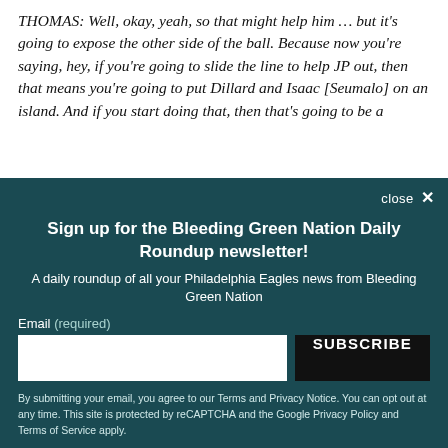THOMAS: Well, okay, yeah, so that might help him … but it's going to expose the other side of the ball. Because now you're saying, hey, if you're going to slide the line to help JP out, then that means you're going to put Dillard and Isaac [Seumalo] on an island. And if you start doing that, then that's going to be a
close ×
Sign up for the Bleeding Green Nation Daily Roundup newsletter!
A daily roundup of all your Philadelphia Eagles news from Bleeding Green Nation
Email (required)
SUBSCRIBE
By submitting your email, you agree to our Terms and Privacy Notice. You can opt out at any time. This site is protected by reCAPTCHA and the Google Privacy Policy and Terms of Service apply.